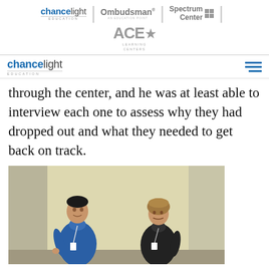[Figure (logo): ChanceLight Education, Ombudsman, Spectrum Center, and ACE Learning Centers logos in a top header bar]
chancelight EDUCATION (navigation bar with hamburger menu)
through the center, and he was at least able to interview each one to assess why they had dropped out and what they needed to get back on track.
[Figure (photo): A young man in a blue shirt and a woman in a black jacket having a conversation in a hallway or building interior with a warm yellow wall background.]